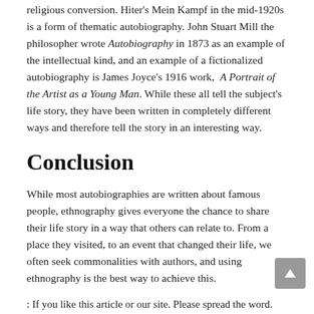religious conversion. Hiter's Mein Kampf in the mid-1920s is a form of thematic autobiography. John Stuart Mill the philosopher wrote Autobiography in 1873 as an example of the intellectual kind, and an example of a fictionalized autobiography is James Joyce's 1916 work, A Portrait of the Artist as a Young Man. While these all tell the subject's life story, they have been written in completely different ways and therefore tell the story in an interesting way.
Conclusion
While most autobiographies are written about famous people, ethnography gives everyone the chance to share their life story in a way that others can relate to. From a place they visited, to an event that changed their life, we often seek commonalities with authors, and using ethnography is the best way to achieve this.
: If you like this article or our site. Please spread the word. Share it with your friends/family.
Cite
APA 7